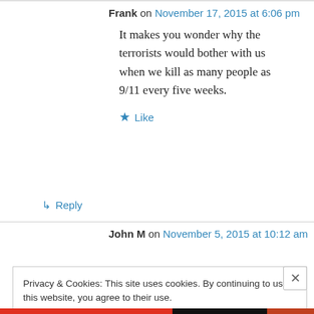Frank on November 17, 2015 at 6:06 pm
It makes you wonder why the terrorists would bother with us when we kill as many people as 9/11 every five weeks.
★ Like
↳ Reply
John M on November 5, 2015 at 10:12 am
Privacy & Cookies: This site uses cookies. By continuing to use this website, you agree to their use. To find out more, including how to control cookies, see here: Cookie Policy
Close and accept